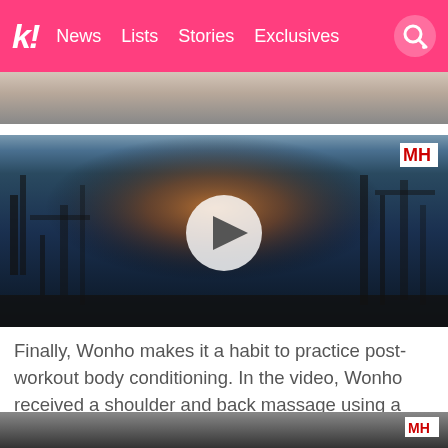k! News Lists Stories Exclusives
[Figure (photo): Partial view of a person in a gym, cropped top image strip]
[Figure (screenshot): Video thumbnail showing a muscular person working out in a gym with a play button overlay and MH magazine logo badge]
Finally, Wonho makes it a habit to practice post-workout body conditioning. In the video, Wonho received a shoulder and back massage using a technique known as a Graston massage.
[Figure (photo): Bottom partial image strip of another gym or workout scene with MH badge]